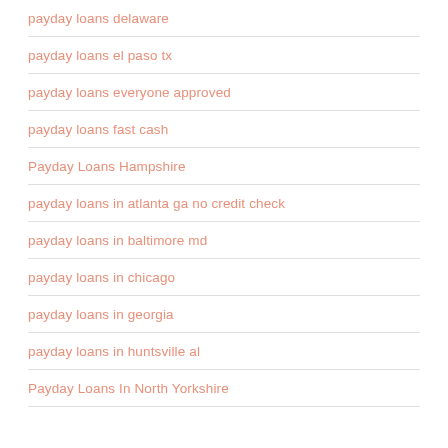payday loans delaware
payday loans el paso tx
payday loans everyone approved
payday loans fast cash
Payday Loans Hampshire
payday loans in atlanta ga no credit check
payday loans in baltimore md
payday loans in chicago
payday loans in georgia
payday loans in huntsville al
Payday Loans In North Yorkshire